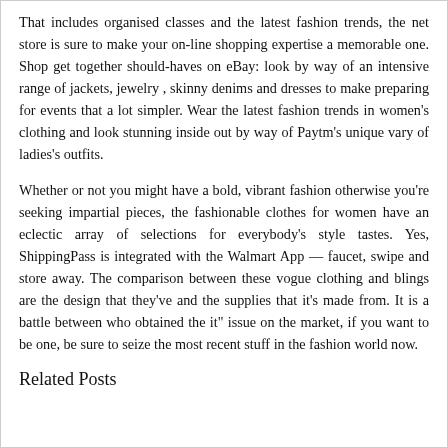That includes organised classes and the latest fashion trends, the net store is sure to make your on-line shopping expertise a memorable one. Shop get together should-haves on eBay: look by way of an intensive range of jackets, jewelry , skinny denims and dresses to make preparing for events that a lot simpler. Wear the latest fashion trends in women's clothing and look stunning inside out by way of Paytm's unique vary of ladies's outfits.
Whether or not you might have a bold, vibrant fashion otherwise you're seeking impartial pieces, the fashionable clothes for women have an eclectic array of selections for everybody's style tastes. Yes, ShippingPass is integrated with the Walmart App — faucet, swipe and store away. The comparison between these vogue clothing and blings are the design that they've and the supplies that it's made from. It is a battle between who obtained the it" issue on the market, if you want to be one, be sure to seize the most recent stuff in the fashion world now.
Related Posts